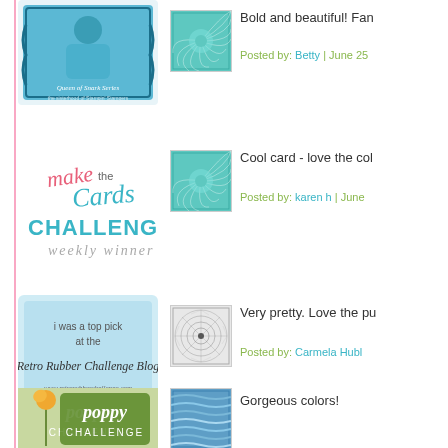[Figure (illustration): Queen of Snark badge - person in blue shirt]
[Figure (illustration): Teal spiral/fan thumbnail image]
Bold and beautiful! Fan
Posted by: Betty | June 25
[Figure (illustration): Make the Cards Challenge Weekly Winner badge]
[Figure (illustration): Teal spiral/fan thumbnail image]
Cool card - love the col
Posted by: karen h | June
[Figure (illustration): Retro Rubber Challenge Blog top pick badge]
[Figure (illustration): Dark spiral/mandala thumbnail image]
Very pretty. Love the pu
Posted by: Carmela Hubl
[Figure (illustration): Poppy Challenge badge with flower]
[Figure (illustration): Blue wavy lines thumbnail image]
Gorgeous colors!